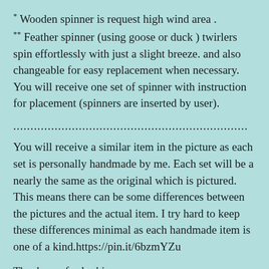* Wooden spinner is request high wind area .
** Feather spinner (using goose or duck ) twirlers spin effortlessly with just a slight breeze. and also changeable for easy replacement when necessary. You will receive one set of spinner with instruction for placement (spinners are inserted by user).
....................................................................
You will receive a similar item in the picture as each set is personally handmade by me. Each set will be a nearly the same as the original which is pictured. This means there can be some differences between the pictures and the actual item. I try hard to keep these differences minimal as each handmade item is one of a kind.https://pin.it/6bzmYZu
Thank you for looking.